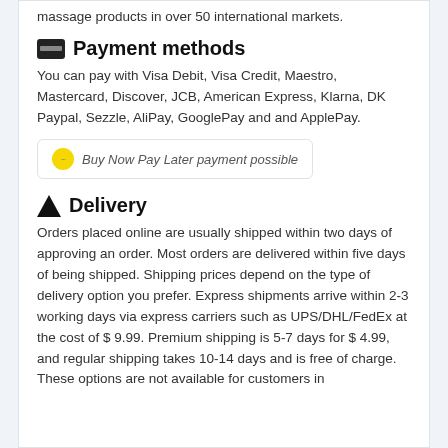massage products in over 50 international markets.
Payment methods
You can pay with Visa Debit, Visa Credit, Maestro, Mastercard, Discover, JCB, American Express, Klarna, DK Paypal, Sezzle, AliPay, GooglePay and and ApplePay.
Buy Now Pay Later payment possible
Delivery
Orders placed online are usually shipped within two days of approving an order. Most orders are delivered within five days of being shipped. Shipping prices depend on the type of delivery option you prefer. Express shipments arrive within 2-3 working days via express carriers such as UPS/DHL/FedEx at the cost of $ 9.99. Premium shipping is 5-7 days for $ 4.99, and regular shipping takes 10-14 days and is free of charge. These options are not available for customers in